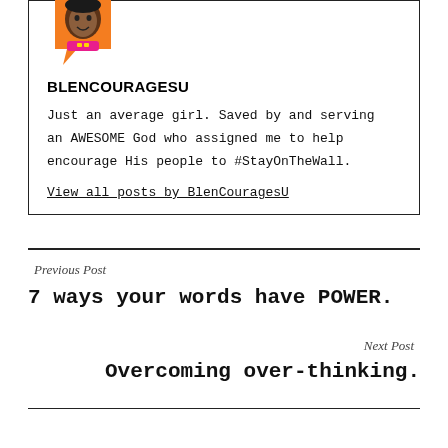[Figure (illustration): Cartoon avatar of a person with an orange speech bubble background]
BLENCOURAGESU
Just an average girl. Saved by and serving an AWESOME God who assigned me to help encourage His people to #StayOnTheWall.
View all posts by BlenCouragesU
Previous Post
7 ways your words have POWER.
Next Post
Overcoming over-thinking.